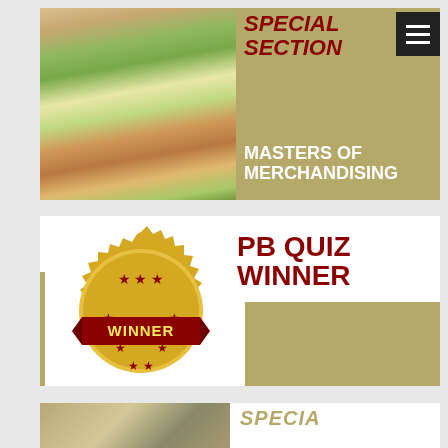[Figure (photo): Woman shopping for fresh vegetables/produce at a grocery store, reaching for carrots and other vegetables]
SPECIAL SECTION
MASTERS OF MERCHANDISING
PB QUIZ WINNER
[Figure (illustration): Gold winner badge/seal with red stars and 'WINNER' text in red on a gold jagged-edge medallion]
[Figure (photo): Partial photo visible at bottom of page, similar grocery/produce scene]
SPECIAL